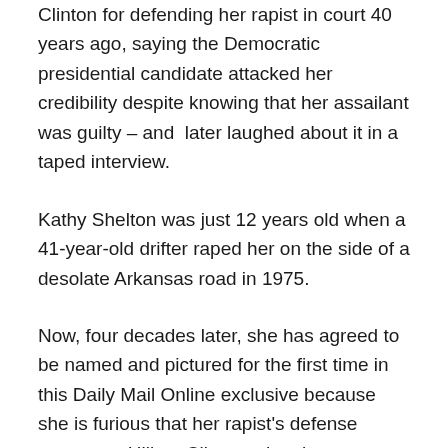Clinton for defending her rapist in court 40 years ago, saying the Democratic presidential candidate attacked her credibility despite knowing that her assailant was guilty – and later laughed about it in a taped interview.
Kathy Shelton was just 12 years old when a 41-year-old drifter raped her on the side of a desolate Arkansas road in 1975.
Now, four decades later, she has agreed to be named and pictured for the first time in this Daily Mail Online exclusive because she is furious that her rapist's defense attorney – Hillary Clinton – has been portraying herself as a lifelong advocate of